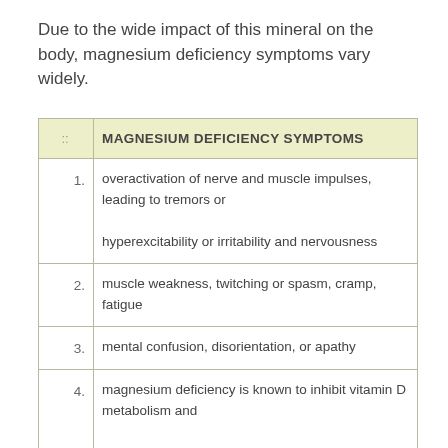Due to the wide impact of this mineral on the body, magnesium deficiency symptoms vary widely.
| :: | MAGNESIUM DEFICIENCY SYMPTOMS |
| --- | --- |
| 1. | overactivation of nerve and muscle impulses, leading to tremors or hyperexcitability or irritability and nervousness |
| 2. | muscle weakness, twitching or spasm, cramp, fatigue |
| 3. | mental confusion, disorientation, or apathy |
| 4. | magnesium deficiency is known to inhibit vitamin D metabolism and cause calcium depletion, leading to low levels of calcium in the blood (hypocalcemia), and softening and weakening of bones, and is a risk factor for postmenopausal osteoporosis |